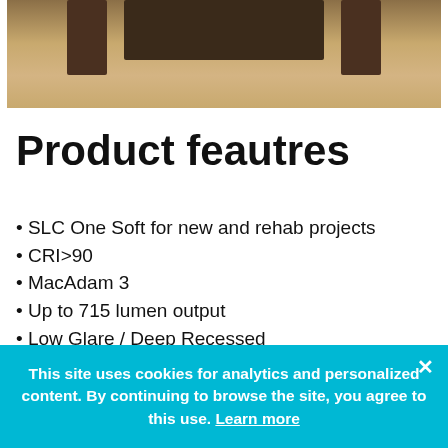[Figure (photo): Partial photo of a wooden architectural/interior feature (fireplace or door frame) on a light wood floor background, cropped at top]
Product feautres
SLC One Soft for new and rehab projects
CRI>90
MacAdam 3
Up to 715 lumen output
Low Glare / Deep Recessed
Can be installed into the insulation, up to the moisture barrier
No installation box required
Suitable for outdoor use
This site uses cookies for analytics and personalized content. By continuing to browse the site, you agree to this use. Learn more